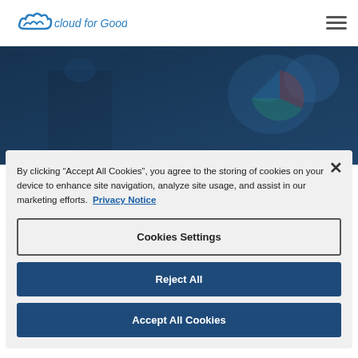Cloud for Good — navigation bar with logo and hamburger menu
[Figure (photo): Dark blue hero image showing a person working at a computer with charts and dashboards visible on screen]
By clicking “Accept All Cookies“, you agree to the storing of cookies on your device to enhance site navigation, analyze site usage, and assist in our marketing efforts. Privacy Notice
Cookies Settings
Reject All
Accept All Cookies